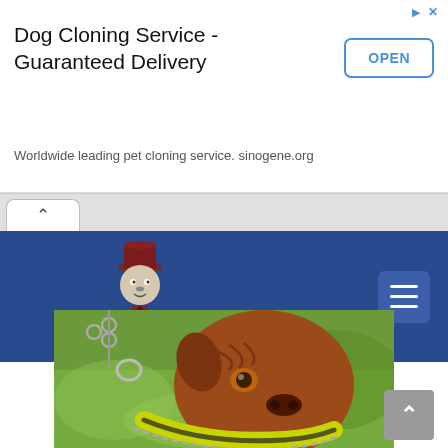[Figure (screenshot): Advertisement banner for Dog Cloning Service - Guaranteed Delivery by sinogene.org with an OPEN button]
Dog Cloning Service - Guaranteed Delivery
Worldwide leading pet cloning service. sinogene.org
[Figure (screenshot): Browser tab bar with up-arrow/caret tab control]
[Figure (screenshot): Mastiff Master website navigation bar with logo (dog in top hat mascot) and hamburger menu button on blue background]
[Figure (photo): Close-up photo of a Dogue de Bordeaux (French Mastiff) wearing a yellow leather collar with chain leash, against a green blurred background]